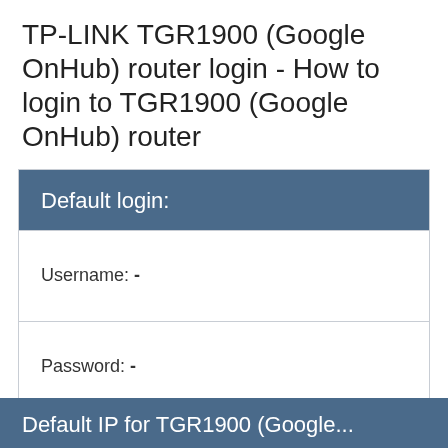TP-LINK TGR1900 (Google OnHub) router login - How to login to TGR1900 (Google OnHub) router
| Default login: |
| --- |
| Username: - |
| Password: - |
| IP Address: Login |
| SSID: |
Default IP for TGR1900 (Google...